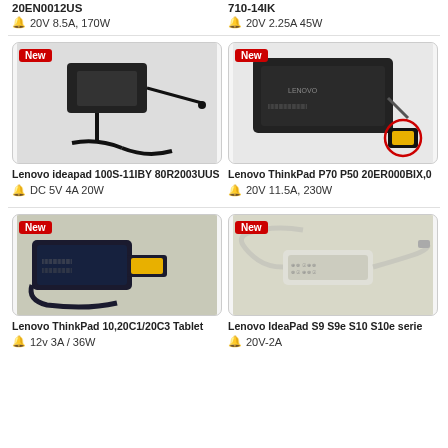20EN0012US
🔔 20V 8.5A, 170W
710-14IK
🔔 20V 2.25A 45W
[Figure (photo): Lenovo laptop power adapter with cable, black, with small barrel connector]
Lenovo ideapad 100S-11IBY 80R2003UUS
🔔 DC 5V 4A 20W
[Figure (photo): Lenovo ThinkPad power adapter, black brick style with yellow square connector, highlighted in red circle]
Lenovo ThinkPad P70 P50 20ER000BIX,0
🔔 20V 11.5A, 230W
[Figure (photo): Lenovo ThinkPad tablet power adapter with USB-C/square yellow connector]
Lenovo ThinkPad 10,20C1/20C3 Tablet
🔔 12v 3A / 36W
[Figure (photo): White Lenovo IdeaPad power adapter with cables]
Lenovo IdeaPad S9 S9e S10 S10e serie
🔔 20V-2A